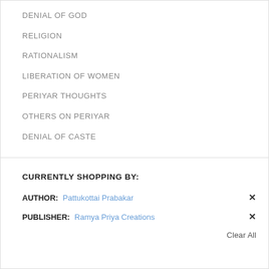DENIAL OF GOD
RELIGION
RATIONALISM
LIBERATION OF WOMEN
PERIYAR THOUGHTS
OTHERS ON PERIYAR
DENIAL OF CASTE
CURRENTLY SHOPPING BY:
AUTHOR: Pattukottai Prabakar
PUBLISHER: Ramya Priya Creations
Clear All